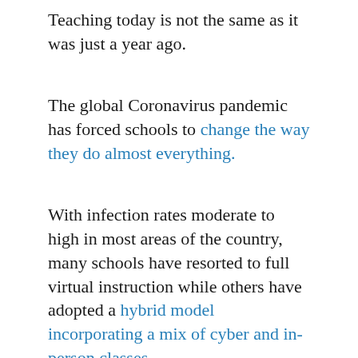Teaching today is not the same as it was just a year ago.
The global Coronavirus pandemic has forced schools to change the way they do almost everything.
With infection rates moderate to high in most areas of the country, many schools have resorted to full virtual instruction while others have adopted a hybrid model incorporating a mix of cyber and in-person classes.